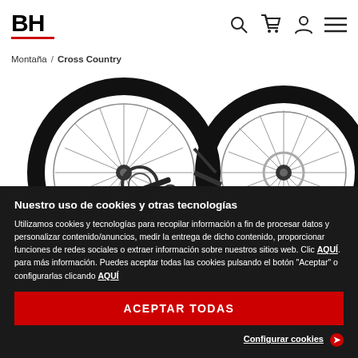BH - Montaña / Cross Country
[Figure (photo): Two mountain bike wheels shown close-up, black tires with spokes visible, drivetrain components visible on left wheel]
Nuestro uso de cookies y otras tecnologías
Utilizamos cookies y tecnologías para recopilar información a fin de procesar datos y personalizar contenido/anuncios, medir la entrega de dicho contenido, proporcionar funciones de redes sociales o extraer información sobre nuestros sitios web. Clic AQUÍ. para más información. Puedes aceptar todas las cookies pulsando el botón "Aceptar" o configurarlas clicando AQUÍ
ACEPTAR TODAS
Configurar cookies →